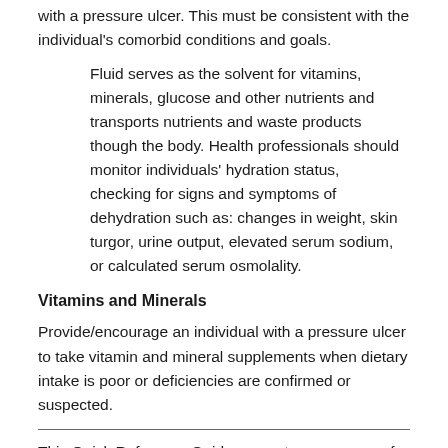with a pressure ulcer. This must be consistent with the individual's comorbid conditions and goals.
Fluid serves as the solvent for vitamins, minerals, glucose and other nutrients and transports nutrients and waste products though the body. Health professionals should monitor individuals' hydration status, checking for signs and symptoms of dehydration such as: changes in weight, skin turgor, urine output, elevated serum sodium, or calculated serum osmolality.
Vitamins and Minerals
Provide/encourage an individual with a pressure ulcer to take vitamin and mineral supplements when dietary intake is poor or deficiencies are confirmed or suspected.
This Quick Reference Guide presents a summary of